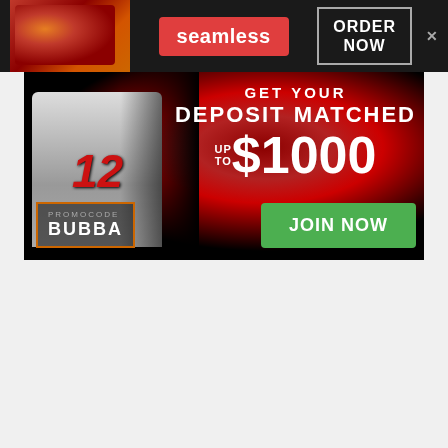[Figure (infographic): Seamless food delivery advertisement banner with pizza image, Seamless red logo, ORDER NOW button, and close X]
[Figure (infographic): Sports betting advertisement: baseball player wearing number 12, text 'GET YOUR DEPOSIT MATCHED UP TO $1000', promo code BUBBA, green JOIN NOW button, dark red smoky background]
[Figure (infographic): Dark banner advertisement with partial gold coin logo visible]
[Figure (infographic): BitLife mobile game advertisement with orange/red flame background, FAIL text, face-palm emoji, flame, BitLife logo with white ball icon, and 'START A NEW LIFE' tagline]